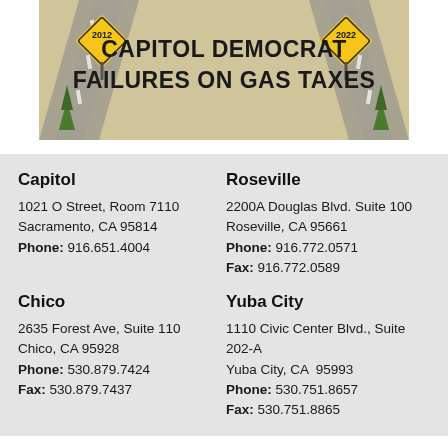[Figure (infographic): Banner image with road/highway graphic background, two yellow diamond road signs labeled '2012' and '2022', and bold text reading 'CAPITOL DEMOCRAT FAILURES ON GAS TAXES']
Capitol
1021 O Street, Room 7110
Sacramento, CA 95814
Phone: 916.651.4004
Roseville
2200A Douglas Blvd. Suite 100
Roseville, CA 95661
Phone: 916.772.0571
Fax: 916.772.0589
Chico
2635 Forest Ave, Suite 110
Chico, CA 95928
Phone: 530.879.7424
Fax: 530.879.7437
Yuba City
1110 Civic Center Blvd., Suite 202-A
Yuba City, CA  95993
Phone: 530.751.8657
Fax: 530.751.8865
Privacy Policy • Accessibility • Republican Caucus